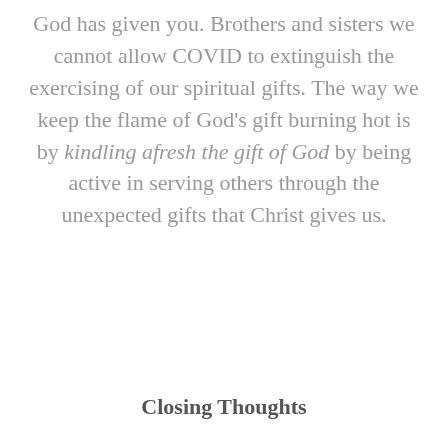God has given you. Brothers and sisters we cannot allow COVID to extinguish the exercising of our spiritual gifts. The way we keep the flame of God's gift burning hot is by kindling afresh the gift of God by being active in serving others through the unexpected gifts that Christ gives us.
Closing Thoughts